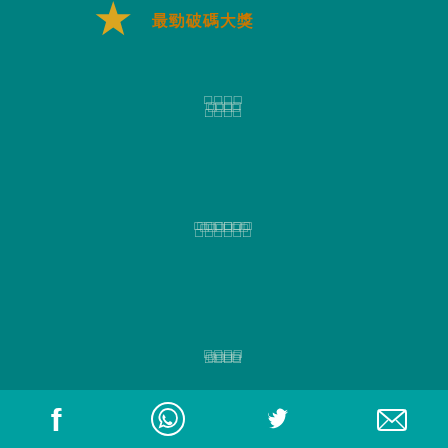[Figure (logo): Gold star with Chinese text logo at the top center]
□□□□
□□□□□□
□□□□
□□□□
□□□□□□□□
□□□□
□□□□
Facebook | WhatsApp | Twitter | Email